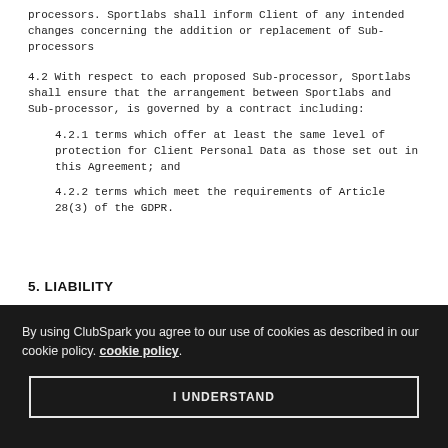processors. Sportlabs shall inform Client of any intended changes concerning the addition or replacement of Sub-processors
4.2 With respect to each proposed Sub-processor, Sportlabs shall ensure that the arrangement between Sportlabs and Sub-processor, is governed by a contract including:
4.2.1 terms which offer at least the same level of protection for Client Personal Data as those set out in this Agreement; and
4.2.2 terms which meet the requirements of Article 28(3) of the GDPR.
5. LIABILITY
By using ClubSpark you agree to our use of cookies as described in our cookie policy. cookie policy.
I UNDERSTAND